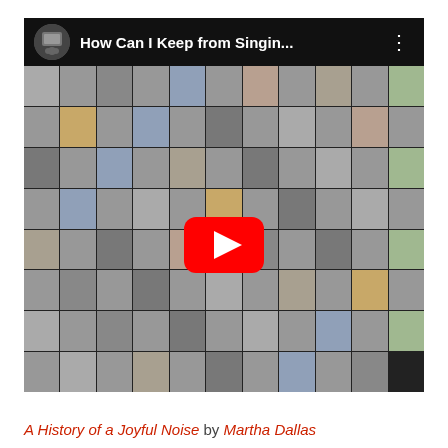[Figure (screenshot): YouTube video thumbnail showing a virtual choir mosaic of approximately 100+ people singing, with the video title 'How Can I Keep from Singin...' displayed in the top bar. A large red YouTube play button is centered over the mosaic grid of faces.]
A History of a Joyful Noise by Martha Dallas